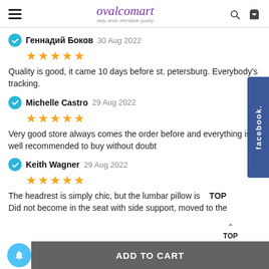ovalcomcart — daily deals affordable quality
Геннадий Боков  30 Aug 2022 — ★★★★★ — Quality is good, it came 10 days before st. petersburg. Everybody's tracking.
Michelle Castro  29 Aug 2022 — ★★★★★ — Very good store always comes the order before and everything is well recommended to buy without doubt
Keith Wagner  29 Aug 2022 — ★★★★★ — The headrest is simply chic, but the lumbar pillow is Did not become in the seat with side support, moved to the